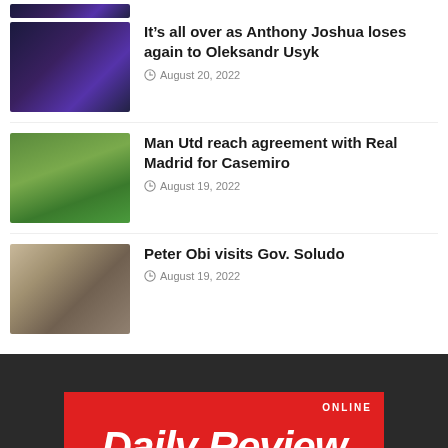[Figure (photo): Partial thumbnail of first article (cropped at top)]
It’s all over as Anthony Joshua loses again to Oleksandr Usyk
August 20, 2022
[Figure (photo): Soccer player in white Real Madrid kit standing on field]
Man Utd reach agreement with Real Madrid for Casemiro
August 19, 2022
[Figure (photo): Peter Obi with other people in front of building]
Peter Obi visits Gov. Soludo
August 19, 2022
[Figure (logo): Daily Review Online logo — white text on red background]